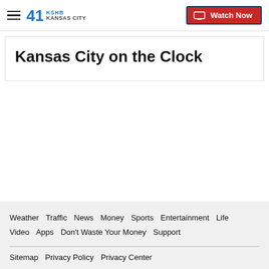41 KSHB KANSAS CITY | Watch Now
Kansas City on the Clock
Weather  Traffic  News  Money  Sports  Entertainment  Life  Video  Apps  Don't Waste Your Money  Support  |  Sitemap  Privacy Policy  Privacy Center